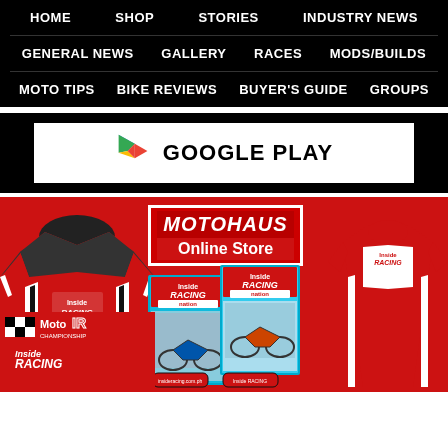HOME | SHOP | STORIES | INDUSTRY NEWS
GENERAL NEWS | GALLERY | RACES | MODS/BUILDS
MOTO TIPS | BIKE REVIEWS | BUYER'S GUIDE | GROUPS
[Figure (logo): Google Play logo with colorful triangular icon and GOOGLE PLAY text]
[Figure (infographic): MOTOHAUS Online Store banner with motorcycle jerseys, t-shirts, magazines, wristbands on red background]